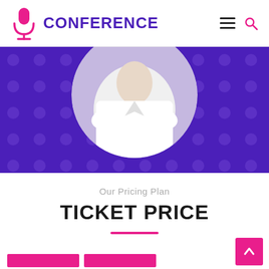CONFERENCE
[Figure (illustration): Purple hero banner with polka dot pattern and circular cropped photo of a person in a white shirt]
Our Pricing Plan
TICKET PRICE